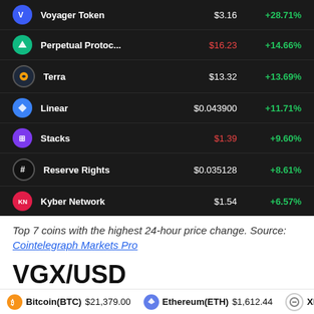[Figure (table-as-image): Dark-themed table showing top 7 coins with 24-hour price change. Rows: Voyager Token $3.16 +28.71%, Perpetual Protoc... $16.23 (red) +14.66%, Terra $13.32 +13.69%, Linear $0.043900 +11.71%, Stacks $1.39 (red) +9.60%, Reserve Rights $0.035128 +8.61%, Kyber Network $1.54 +6.57%]
Top 7 coins with the highest 24-hour price change. Source: Cointelegraph Markets Pro
VGX/USD
The top performer over the past 24-hours has been Voyager Token, a cryptocurrency brokerage platform that offers retail and institutional investors a secure place to purchase, trade and lend crypto assets.
Bitcoin(BTC) $21,379.00   Ethereum(ETH) $1,612.44   XRP